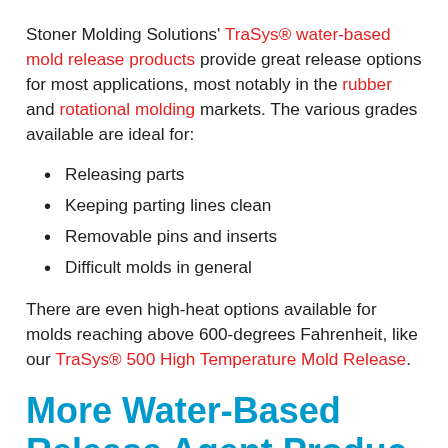Stoner Molding Solutions' TraSys® water-based mold release products provide great release options for most applications, most notably in the rubber and rotational molding markets. The various grades available are ideal for:
Releasing parts
Keeping parting lines clean
Removable pins and inserts
Difficult molds in general
There are even high-heat options available for molds reaching above 600-degrees Fahrenheit, like our TraSys® 500 High Temperature Mold Release.
More Water-Based Release Agent Products